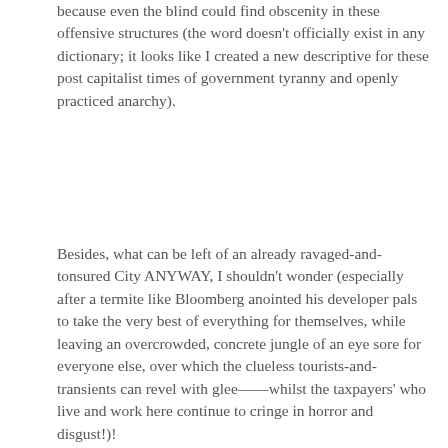because even the blind could find obscenity in these offensive structures (the word doesn't officially exist in any dictionary; it looks like I created a new descriptive for these post capitalist times of government tyranny and openly practiced anarchy).
Besides, what can be left of an already ravaged-and-tonsured City ANYWAY, I shouldn't wonder (especially after a termite like Bloomberg anointed his developer pals to take the very best of everything for themselves, while leaving an overcrowded, concrete jungle of an eye sore for everyone else, over which the clueless tourists-and-transients can revel with glee——whilst the taxpayers' who live and work here continue to cringe in horror and disgust!)!
New York City has lost it magical formula as soon as the American middle class, rank-and-file productivity, and stable placement of meaningful jobs (that kept pace with ever climbing inflation), lost their way and position of democracy, freedom, rights liberties, meritocracy, and cultural relativism (Toqueville talked about all of these